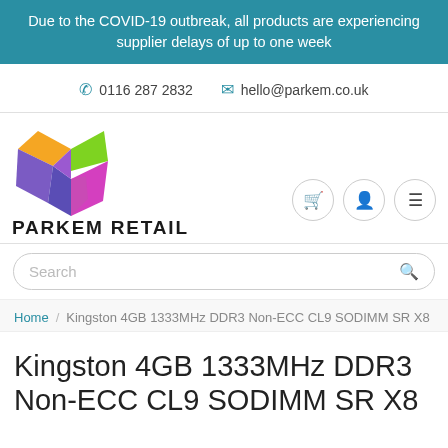Due to the COVID-19 outbreak, all products are experiencing supplier delays of up to one week
0116 287 2832  hello@parkem.co.uk
[Figure (logo): Parkem Retail logo: colorful origami-style open box with orange, green, purple, magenta and violet panels, with 'PARKEM RETAIL' text below in bold uppercase]
Search
Home / Kingston 4GB 1333MHz DDR3 Non-ECC CL9 SODIMM SR X8
Kingston 4GB 1333MHz DDR3 Non-ECC CL9 SODIMM SR X8